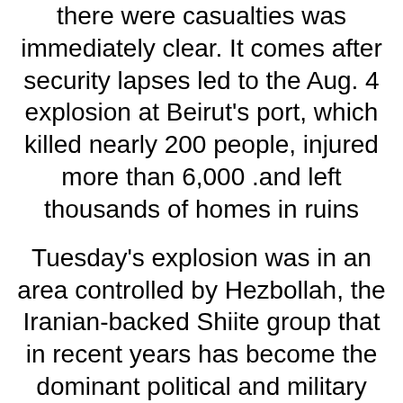Neither the cause of the blast nor whether there were casualties was immediately clear. It comes after security lapses led to the Aug. 4 explosion at Beirut's port, which killed nearly 200 people, injured more than 6,000 and left thousands of homes in ruins.
Tuesday's explosion was in an area controlled by Hezbollah, the Iranian-backed Shiite group that in recent years has become the dominant political and military force in Lebanon. Video footage from the scene showed residents of the village clambering over an area near the blast site that was covered with gray ash.
An official with Hezbollah's media unit said no casualties were recorded in the blast.